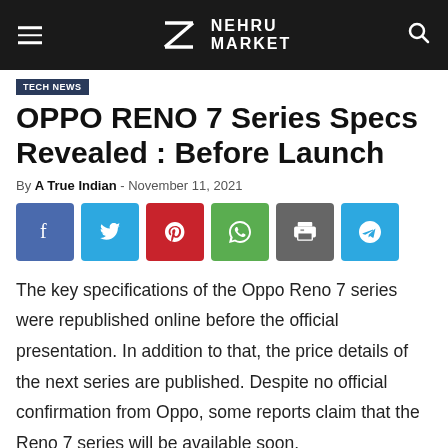NEHRU MARKET
OPPO RENO 7 Series Specs Revealed : Before Launch
By A True Indian - November 11, 2021
[Figure (infographic): Social share buttons: Facebook (blue), Twitter (light blue), Pinterest (red), WhatsApp (green), Print (grey), Telegram (light blue)]
The key specifications of the Oppo Reno 7 series were republished online before the official presentation. In addition to that, the price details of the next series are published. Despite no official confirmation from Oppo, some reports claim that the Reno 7 series will be available soon.